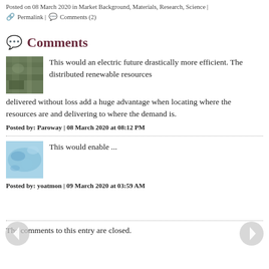Posted on 08 March 2020 in Market Background, Materials, Research, Science |
🔗 Permalink | 💬 Comments (2)
💬 Comments
This would an electric future drastically more efficient. The distributed renewable resources delivered without loss add a huge advantage when locating where the resources are and delivering to where the demand is.
Posted by: Paroway | 08 March 2020 at 08:12 PM
This would enable ...
Posted by: yoatmon | 09 March 2020 at 03:59 AM
The comments to this entry are closed.